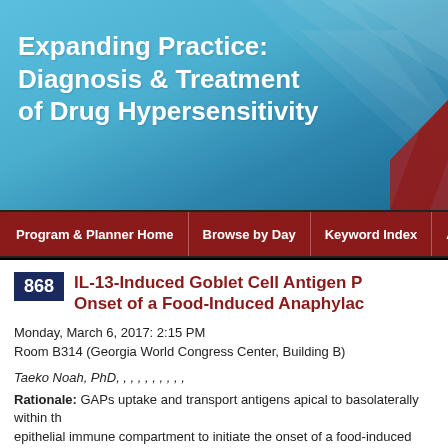[Figure (illustration): Blue gradient banner with diamond pattern overlay and white bold title text reading 'Expanding Practice: Diagnosis & Treatment of Drug Hypersensitivity']
Expanding Practice: Diagnosis & Treatment of Drug Hypersensitivity
Program & Planner Home | Browse by Day | Keyword Index | Au
868 IL-13-Induced Goblet Cell Antigen P... Onset of a Food-Induced Anaphylac...
Monday, March 6, 2017: 2:15 PM
Room B314 (Georgia World Congress Center, Building B)
Taeko Noah, PhD, , , , , , , , , ,
Rationale: GAPs uptake and transport antigens apical to basolaterally within the epithelial immune compartment to initiate the onset of a food-induced anaphyla...